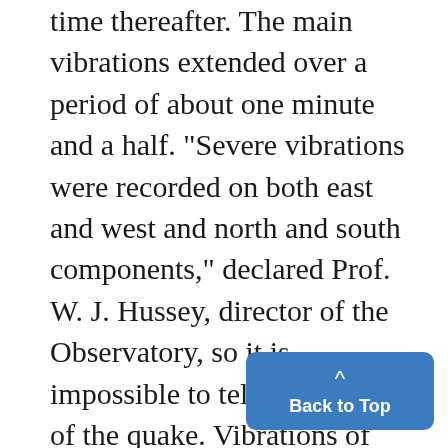time thereafter. The main vibrations extended over a period of about one minute and a half. "Severe vibrations were recorded on both east and west and north and south components," declared Prof. W. J. Hussey, director of the Observatory, so it is impossible to tell the direction of the quake. Vibrations of greater intensity have been recorded here, but it is rare that a quake is felt in Ann Arbor by persons without instruments." Professor Hussey's first notifica-